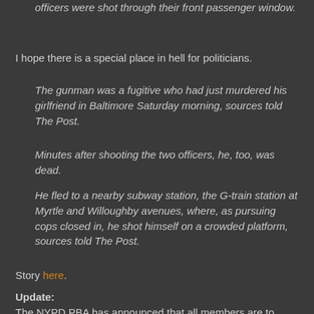officers were shot through their front passenger window.
I hope there is a special place in hell for politicians.
The gunman was a fugitive who had just murdered his girlfriend in Baltimore Saturday morning, sources told The Post.
Minutes after shooting the two officers, he, too, was dead.
He fled to a nearby subway station, the G-train station at Myrtle and Willoughby avenues, where, as pursuing cops closed in, he shot himself on a crowded platform, sources told The Post.
Story here.
Update:
The NYPD PBA has announced that all members are to consider themselves on a wartime footing. I am posting this